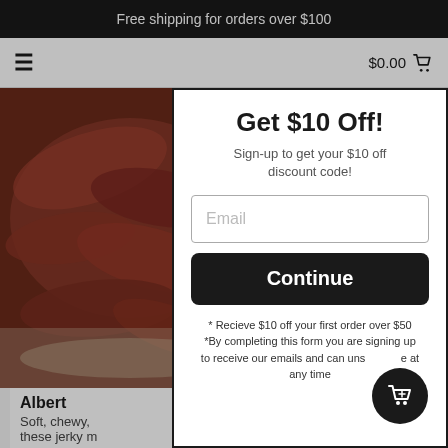Free shipping for orders over $100
$0.00
[Figure (photo): Photo of beef jerky pieces piled on a surface]
Albert
Soft, chewy, these jerky m
Get $10 Off!
Sign-up to get your $10 off discount code!
Email
Continue
* Recieve $10 off your first order over $50 *By completing this form you are signing up to receive our emails and can unsubscribe at any time